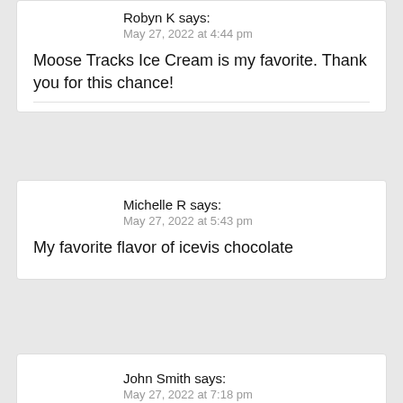Robyn K says:
May 27, 2022 at 4:44 pm
Moose Tracks Ice Cream is my favorite. Thank you for this chance!
Michelle R says:
May 27, 2022 at 5:43 pm
My favorite flavor of icevis chocolate
John Smith says:
May 27, 2022 at 7:18 pm
“What is your favorite ice cream flavor?” Rainforest Crunch!